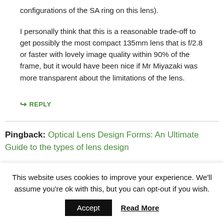configurations of the SA ring on this lens).
I personally think that this is a reasonable trade-off to get possibly the most compact 135mm lens that is f/2.8 or faster with lovely image quality within 90% of the frame, but it would have been nice if Mr Miyazaki was more transparent about the limitations of the lens.
↪ REPLY
Pingback: Optical Lens Design Forms: An Ultimate Guide to the types of lens design
This website uses cookies to improve your experience. We'll assume you're ok with this, but you can opt-out if you wish. Accept Read More